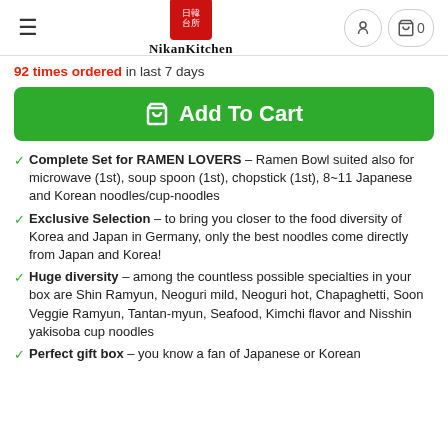NikanKitchen
92 times ordered in last 7 days
Add To Cart
Complete Set for RAMEN LOVERS – Ramen Bowl suited also for microwave (1st), soup spoon (1st), chopstick (1st), 8~11 Japanese and Korean noodles/cup-noodles
Exclusive Selection – to bring you closer to the food diversity of Korea and Japan in Germany, only the best noodles come directly from Japan and Korea!
Huge diversity – among the countless possible specialties in your box are Shin Ramyun, Neoguri mild, Neoguri hot, Chapaghetti, Soon Veggie Ramyun, Tantan-myun, Seafood, Kimchi flavor and Nisshin yakisoba cup noodles
Perfect gift box – you know a fan of Japanese or Korean